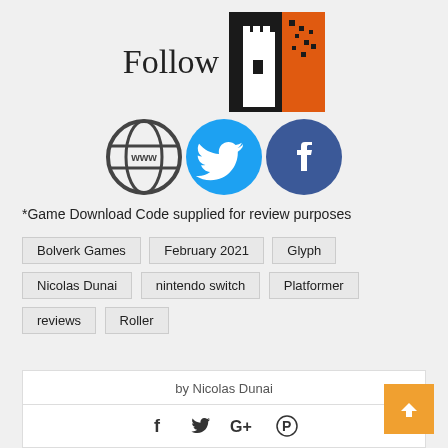[Figure (logo): Follow text with a tower/castle logo in black, white and orange]
[Figure (infographic): Three social media icons: globe/www icon (dark gray), Twitter bird (blue), Facebook f (dark blue)]
*Game Download Code supplied for review purposes
Bolverk Games
February 2021
Glyph
Nicolas Dunai
nintendo switch
Platformer
reviews
Roller
by Nicolas Dunai
[Figure (infographic): Share icons: Facebook f, Twitter bird, Google+, Pinterest]